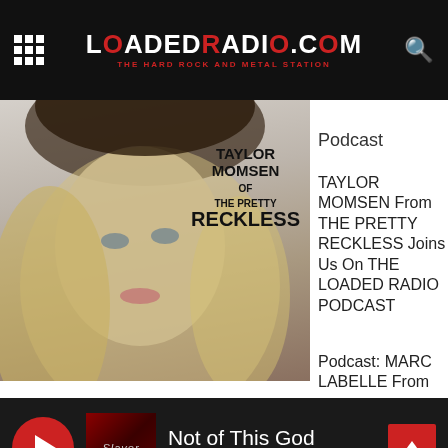LOaDEdRADiO.cOM - THE HARD ROCK AND METAL STATION
Podcast
[Figure (photo): Taylor Momsen photo with overlay text: TAYLOR MOMSEN OF THE PRETTY RECKLESS]
TAYLOR MOMSEN From THE PRETTY RECKLESS Joins Us On THE LOADED RADIO PODCAST
Podcast: MARC LABELLE From
Not of This God - Slayer (player bar)